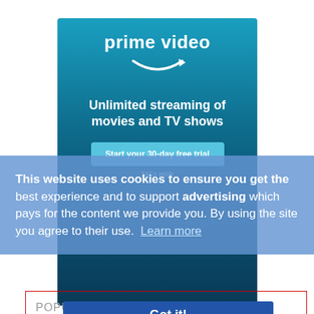[Figure (screenshot): Amazon Prime Video advertisement banner with teal/blue gradient background, showing 'prime video' text with Amazon arrow logo, and tagline 'Unlimited streaming of movies and TV shows' with a blue button and T&Cs apply text]
This website uses cookies to ensure you get the best experience and to support advertising which pays for the content we provide you. By using the site you agree to their use.  Learn more
POPULAR
Got it!
[Figure (screenshot): Bottom strip showing thumbnail images of TV shows/movies]